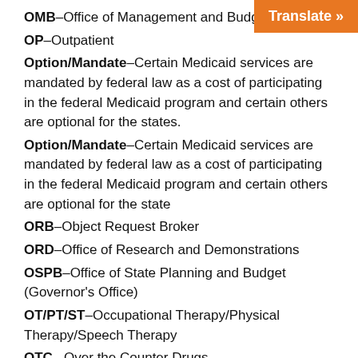OMB–Office of Management and Budget
OP–Outpatient
Option/Mandate–Certain Medicaid services are mandated by federal law as a cost of participating in the federal Medicaid program and certain others are optional for the states.
Option/Mandate–Certain Medicaid services are mandated by federal law as a cost of participating in the federal Medicaid program and certain others are optional for the state
ORB–Object Request Broker
ORD–Office of Research and Demonstrations
OSPB–Office of State Planning and Budget (Governor's Office)
OT/PT/ST–Occupational Therapy/Physical Therapy/Speech Therapy
OTC –Over the Counter Drugs
OUT–Outcome Tracking Unit
Outpatient–Outpatient Hospital Services includes all